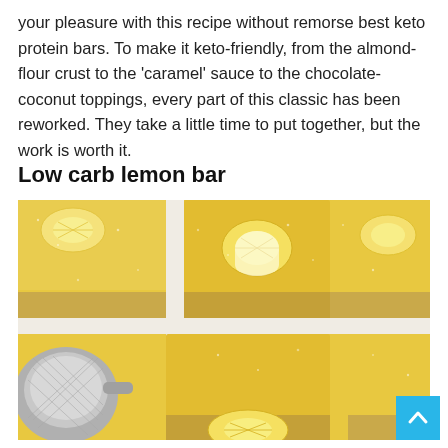your pleasure with this recipe without remorse best keto protein bars. To make it keto-friendly, from the almond-flour crust to the 'caramel' sauce to the chocolate-coconut toppings, every part of this classic has been reworked. They take a little time to put together, but the work is worth it.
Low carb lemon bar
[Figure (photo): Close-up photo of yellow lemon bars with almond-flour crust, topped with lemon wedge slices and dusted with powdered sugar, arranged on white parchment. A tea strainer is visible in the bottom left corner.]